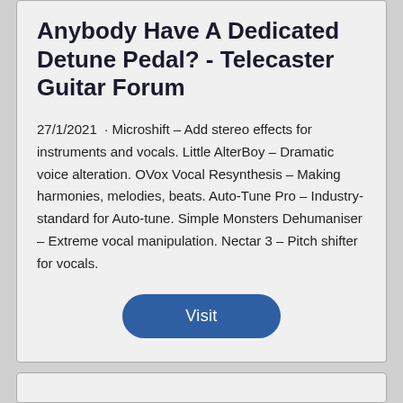Anybody Have A Dedicated Detune Pedal? - Telecaster Guitar Forum
27/1/2021  · Microshift – Add stereo effects for instruments and vocals. Little AlterBoy – Dramatic voice alteration. OVox Vocal Resynthesis – Making harmonies, melodies, beats. Auto-Tune Pro – Industry-standard for Auto-tune. Simple Monsters Dehumaniser – Extreme vocal manipulation. Nectar 3 – Pitch shifter for vocals.
Visit